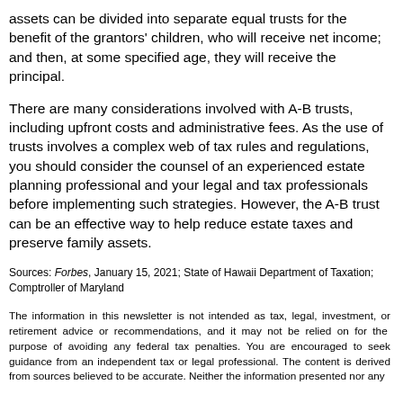assets can be divided into separate equal trusts for the benefit of the grantors' children, who will receive net income; and then, at some specified age, they will receive the principal.
There are many considerations involved with A-B trusts, including upfront costs and administrative fees. As the use of trusts involves a complex web of tax rules and regulations, you should consider the counsel of an experienced estate planning professional and your legal and tax professionals before implementing such strategies. However, the A-B trust can be an effective way to help reduce estate taxes and preserve family assets.
Sources: Forbes, January 15, 2021; State of Hawaii Department of Taxation; Comptroller of Maryland
The information in this newsletter is not intended as tax, legal, investment, or retirement advice or recommendations, and it may not be relied on for the purpose of avoiding any federal tax penalties. You are encouraged to seek guidance from an independent tax or legal professional. The content is derived from sources believed to be accurate. Neither the information presented nor any